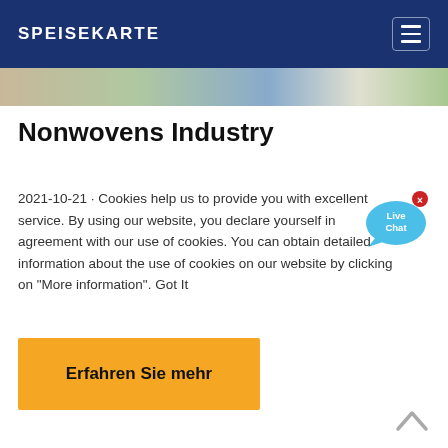SPEISEKARTE
[Figure (photo): Horizontal image strip showing various scenes in muted colors]
Nonwovens Industry
2021-10-21 · Cookies help us to provide you with excellent service. By using our website, you declare yourself in agreement with our use of cookies. You can obtain detailed information about the use of cookies on our website by clicking on "More information". Got It
[Figure (illustration): Live Chat speech bubble icon in blue with 'Live Chat' text and a red X close button]
Erfahren Sie mehr
[Figure (illustration): Chevron/caret up arrow for back-to-top navigation]